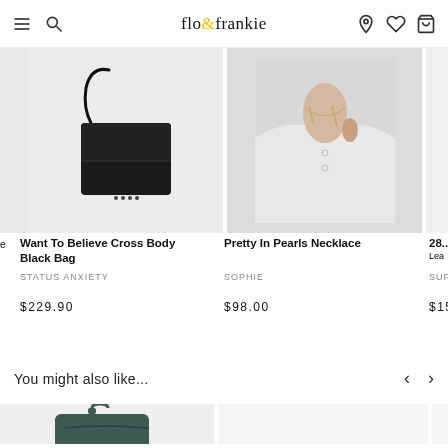flo & frankie — navigation header with menu, search, location, wishlist, cart icons
[Figure (photo): Product photo of Want To Believe Cross Body Black Bag by Status Anxiety — black leather crossbody bag on white/light grey background]
[Figure (photo): Product photo of Pretty In Pearls Necklace by Sophie — delicate pearl necklace worn by model in white shirt]
[Figure (photo): Partial product photo on right edge, cropped]
Want To Believe Cross Body Black Bag
STATUS ANXIETY
$229.90
Pretty In Pearls Necklace
SOPHIE
$98.00
28...
Lea...
SUP...
$15...
You might also like...
[Figure (photo): Dark teal/green backpack product photo on light grey background]
[Figure (photo): Second product image on right, partially visible, light grey background]